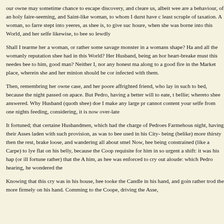our owne may sometime chance to escape discovery, and cleare us, albeit wee are a behaviour, of an holy faire-seeming, and Saint-like woman, to whom I durst have c least scruple of taxation. A woman, so farre stept into yeeres, as shee is, to give suc houre, when she was borne into this World, and her selfe likewise, to bee so lewdly
Shall I tearme her a woman, or rather some savage monster in a womans shape? Ha and all the womanly reputation shee had in this World? Her Husband, being an hor heart-breake must this needes bee to him, good man? Neither I, nor any honest ma along to a good fire in the Market place, wherein she and her minion should be cor infected with them.
Then, remembring her owne case, and her poore affrighted friend, who lay in such to bed, because the night passed on apace. But Pedro, having a better will to eate, t bellie; whereto shee answered. Why Husband (quoth shee) doe I make any large pr cannot content your selfe from one nights feeding, considering, it is now over-late
It fortuned; that certaine Husbandmen, which had the charge of Pedroes Farmehous night, having their Asses laden with such provision, as was to bee used in his City- being (belike) more thirsty then the rest, brake loose, and wandering all about smel Now, hee being constrained (like a Carpe) to lye flat on his belly, because the Coop requisite for him in so urgent a shift: it was his hap (or ill fortune rather) that the A him, as hee was enforced to cry out aloude: which Pedro hearing, he wondered the
Knowing that this cry was in his house, hee tooke the Candle in his hand, and goin rather trod the more firmely on his hand. Comming to the Coope, driving the Asse,